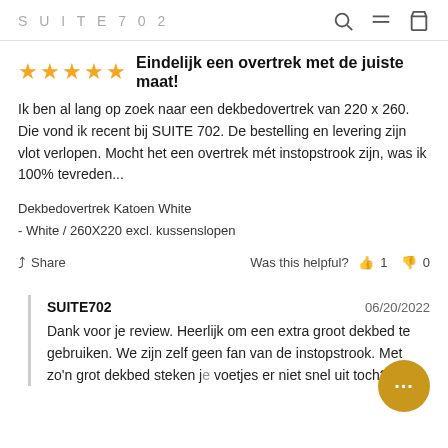SUITE702
Eindelijk een overtrek met de juiste maat!
Ik ben al lang op zoek naar een dekbedovertrek van 220 x 260. Die vond ik recent bij SUITE 702. De bestelling en levering zijn vlot verlopen. Mocht het een overtrek mét instopstrook zijn, was ik 100% tevreden...
Dekbedovertrek Katoen White
- White / 260X220 excl. kussenslopen
Share   Was this helpful? 1  0
SUITE702  06/20/2022
Dank voor je review. Heerlijk om een extra groot dekbed te gebruiken. We zijn zelf geen fan van de instopstrook. Met zo'n grot dekbed steken je voetjes er niet snel uit toch?